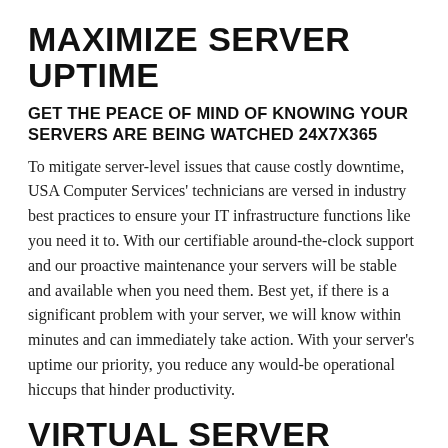MAXIMIZE SERVER UPTIME
GET THE PEACE OF MIND OF KNOWING YOUR SERVERS ARE BEING WATCHED 24X7X365
To mitigate server-level issues that cause costly downtime, USA Computer Services' technicians are versed in industry best practices to ensure your IT infrastructure functions like you need it to. With our certifiable around-the-clock support and our proactive maintenance your servers will be stable and available when you need them. Best yet, if there is a significant problem with your server, we will know within minutes and can immediately take action. With your server's uptime our priority, you reduce any would-be operational hiccups that hinder productivity.
VIRTUAL SERVER MANAGEMENT